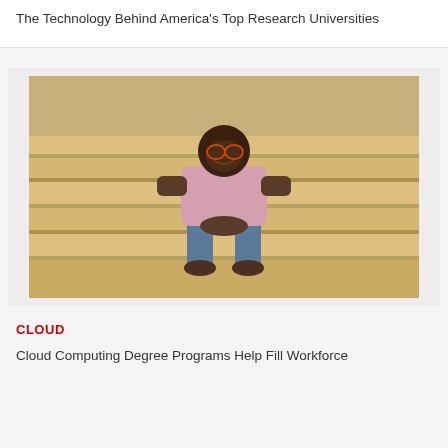The Technology Behind America's Top Research Universities
[Figure (photo): A man sitting on wide stone steps of a building with classical columns, wearing a pink shirt and blue jeans, smiling at the camera.]
CLOUD
Cloud Computing Degree Programs Help Fill Workforce